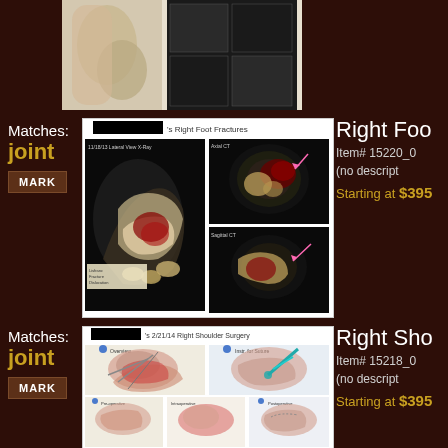[Figure (photo): Partial medical illustration at top of page, showing anatomical images of a joint/bone area, partially visible]
Matches: joint
[Figure (illustration): Medical illustration showing Right Foot Fractures - lateral view X-ray and axial CT scans showing fractured bones with red highlighted injury areas]
's Right Foot Fractures
Right Foo...
Item# 15220_0
(no descript...
Starting at $395
Matches: joint
[Figure (illustration): Medical illustration showing Right Shoulder Surgery dated 2/21/14, with anatomical cross-sections showing surgical procedure with instruments]
's 2/21/14 Right Shoulder Surgery
Right Sho...
Item# 15218_0
(no descript...
Starting at $395